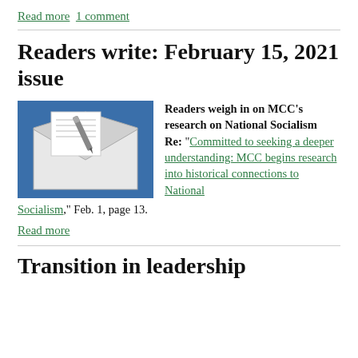Read more   1 comment
Readers write: February 15, 2021 issue
[Figure (illustration): Envelope with letter and pen icon on blue background]
Readers weigh in on MCC's research on National Socialism Re: “Committed to seeking a deeper understanding: MCC begins research into historical connections to National Socialism,” Feb. 1, page 13.
Read more
Transition in leadership